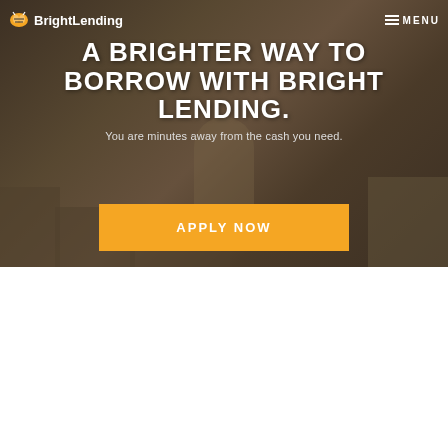[Figure (screenshot): Bright Lending website hero section with dark background showing person sitting on steps, navigation bar with logo and menu, headline text and Apply Now button]
BrightLending  MENU
A BRIGHTER WAY TO BORROW WITH BRIGHT LENDING.
You are minutes away from the cash you need.
APPLY NOW